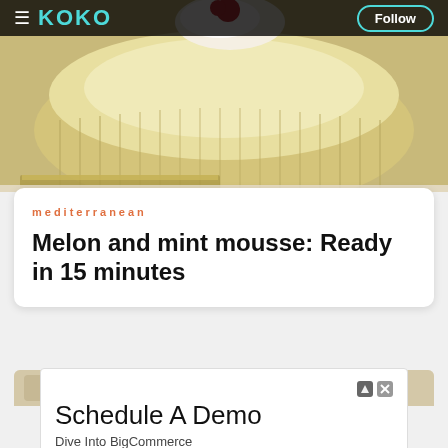≡ KOKO  Follow
[Figure (photo): Close-up photo of a yellow melon and mint mousse dessert in a glass dish, topped with a raspberry, on a white surface.]
mediterranean
Melon and mint mousse: Ready in 15 minutes
[Figure (photo): Partial view of another food article card below.]
Schedule A Demo
Dive Into BigCommerce
BigCommerce  Learn More